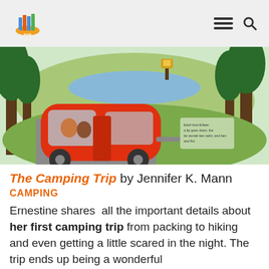Navigation header with logo and menu/search icons
[Figure (illustration): Illustration from the book 'The Camping Trip' showing a red camper van/trailer parked in a forested campsite with green trees and hills in the background. Characters visible inside the camper through a window.]
The Camping Trip by Jennifer K. Mann
CAMPING
Ernestine shares  all the important details about her first camping trip from packing to hiking and even getting a little scared in the night. The trip ends up being a wonderful experience! And it's a wonderful reading experience, too. The comic panels and